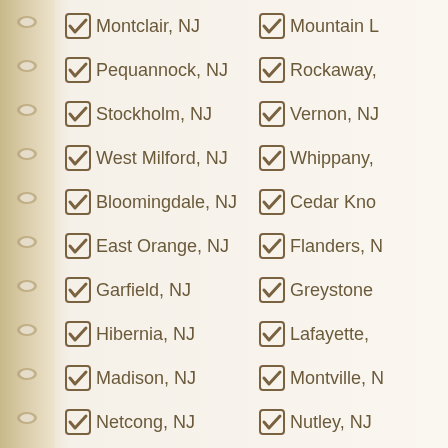Montclair, NJ
Mountain L…
Pequannock, NJ
Rockaway,…
Stockholm, NJ
Vernon, NJ
West Milford, NJ
Whippany,…
Bloomingdale, NJ
Cedar Kno…
East Orange, NJ
Flanders, N…
Garfield, NJ
Greystone…
Hibernia, NJ
Lafayette,…
Madison, NJ
Montville, N…
Netcong, NJ
Nutley, NJ
States We Serve
Alabama
Arizona